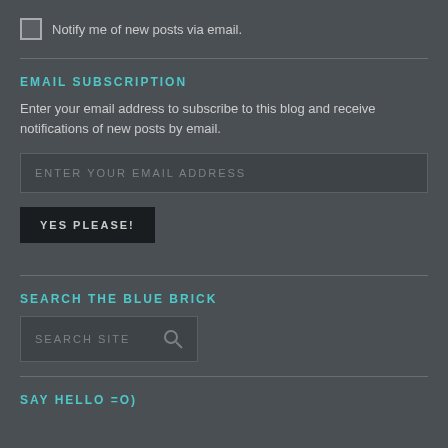Notify me of new posts via email.
EMAIL SUBSCRIPTION
Enter your email address to subscribe to this blog and receive notifications of new posts by email.
ENTER YOUR EMAIL ADDRESS
YES PLEASE!
SEARCH THE BLUE BRICK
SEARCH SITE
SAY HELLO =O)